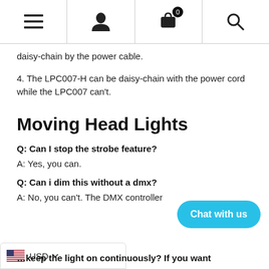Navigation bar with menu, user, cart (0), search icons
daisy-chain by the power cable.
4. The LPC007-H can be daisy-chain with the power cord while the LPC007 can't.
Moving Head Lights
Q: Can I stop the strobe feature?
A: Yes, you can.
Q: Can i dim this without a dmx?
A: No, you can't. The DMX controller
keep the light on continuously? If you want